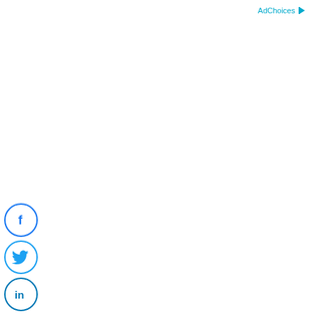AdChoices
[Figure (screenshot): Screenshot of a browser showing an EntityFramework NuGet package install notification with 'dbcontext could not be found' error message in Visual Studio.]
dbcontext could not be found
Then click on the I Accept button to accept the license Agreement.